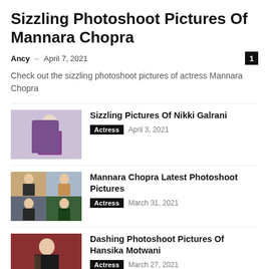Sizzling Photoshoot Pictures Of Mannara Chopra
Ancy – April 7, 2021
Check out the sizzling photoshoot pictures of actress Mannara Chopra
[Figure (photo): Thumbnail of Nikki Galrani in purple saree]
Sizzling Pictures Of Nikki Galrani
Actress  April 3, 2021
[Figure (photo): Collage of Mannara Chopra in sarees]
Mannara Chopra Latest Photoshoot Pictures
Actress  March 31, 2021
[Figure (photo): Hansika Motwani in black crop top]
Dashing Photoshoot Pictures Of Hansika Motwani
Actress  March 27, 2021
[Figure (photo): Mannara in outdoor greenery setting]
Dashing Photoshoot Pictures Of Mannara